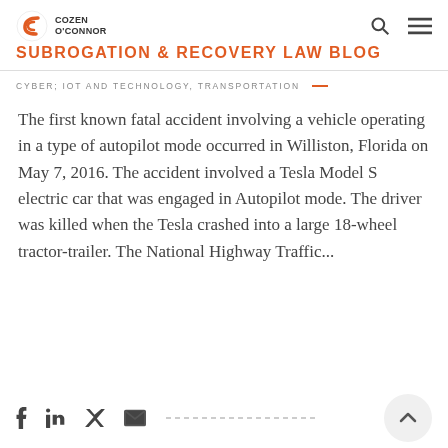Cozen O'Connor — SUBROGATION & RECOVERY LAW BLOG
CYBER; IOT AND TECHNOLOGY, TRANSPORTATION
The first known fatal accident involving a vehicle operating in a type of autopilot mode occurred in Williston, Florida on May 7, 2016. The accident involved a Tesla Model S electric car that was engaged in Autopilot mode. The driver was killed when the Tesla crashed into a large 18-wheel tractor-trailer. The National Highway Traffic...